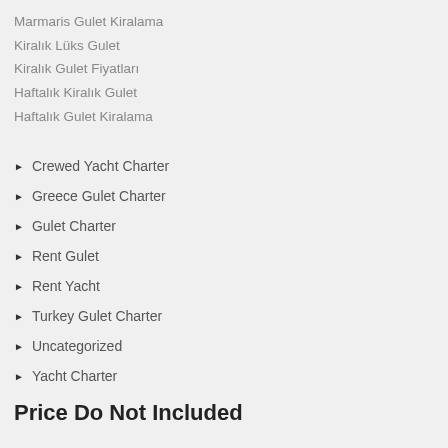Marmaris Gulet Kiralama
Kiralık Lüks Gulet
Kiralık Gulet Fiyatları
Haftalık Kiralık Gulet
Haftalık Gulet Kiralama
Crewed Yacht Charter
Greece Gulet Charter
Gulet Charter
Rent Gulet
Rent Yacht
Turkey Gulet Charter
Uncategorized
Yacht Charter
Price Do Not Included